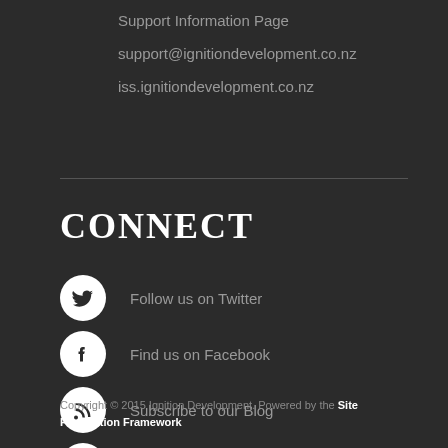Support Information Page
support@ignitiondevelopment.co.nz
iss.ignitiondevelopment.co.nz
CONNECT
Follow us on Twitter
Find us on Facebook
Subscribe to our Blog
Customer testimonials
Copyright © 2015 Ignition Development. Powered by the Site Foundation Framework